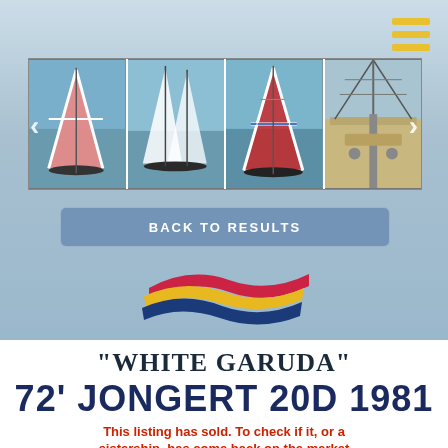[Figure (photo): Photo carousel strip showing sailboats with Union Jack and Norwegian flag spinnakers sailing on open water, plus a deck-level shot. Navigation arrows on left and right.]
BACK TO RESULTS
[Figure (logo): Sailing company logo with three wave shapes in red, yellow, and blue/navy swoosh forms.]
"WHITE GARUDA"
72' JONGERT 20D 1981
This listing has sold. To check if it, or a sistership, has come back on the market